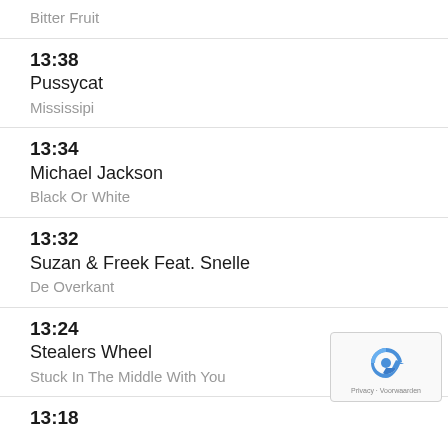Bitter Fruit
13:38 Pussycat Mississipi
13:34 Michael Jackson Black Or White
13:32 Suzan & Freek Feat. Snelle De Overkant
13:24 Stealers Wheel Stuck In The Middle With You
13:18